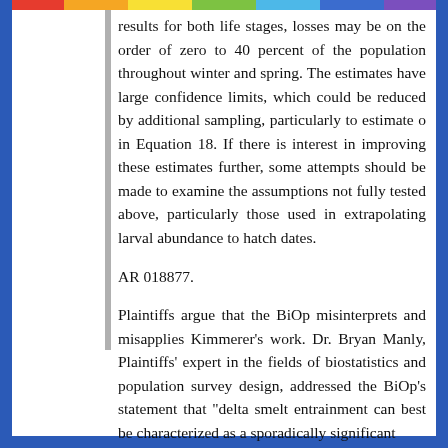results for both life stages, losses may be on the order of zero to 40 percent of the population throughout winter and spring. The estimates have large confidence limits, which could be reduced by additional sampling, particularly to estimate o in Equation 18. If there is interest in improving these estimates further, some attempts should be made to examine the assumptions not fully tested above, particularly those used in extrapolating larval abundance to hatch dates.
AR 018877.
Plaintiffs argue that the BiOp misinterprets and misapplies Kimmerer's work. Dr. Bryan Manly, Plaintiffs' expert in the fields of biostatistics and population survey design, addressed the BiOp's statement that "delta smelt entrainment can best be characterized as a sporadically significant